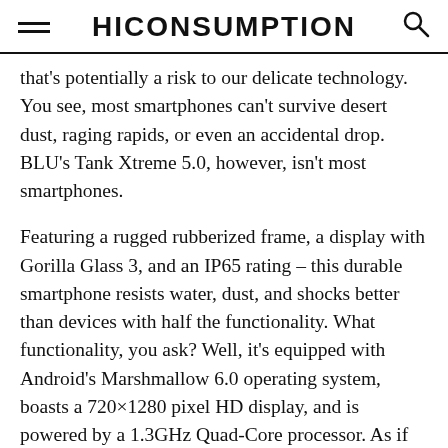HICONSUMPTION
that's potentially a risk to our delicate technology. You see, most smartphones can't survive desert dust, raging rapids, or even an accidental drop. BLU's Tank Xtreme 5.0, however, isn't most smartphones.
Featuring a rugged rubberized frame, a display with Gorilla Glass 3, and an IP65 rating – this durable smartphone resists water, dust, and shocks better than devices with half the functionality. What functionality, you ask? Well, it's equipped with Android's Marshmallow 6.0 operating system, boasts a 720×1280 pixel HD display, and is powered by a 1.3GHz Quad-Core processor. As if that's not enough, it also has a